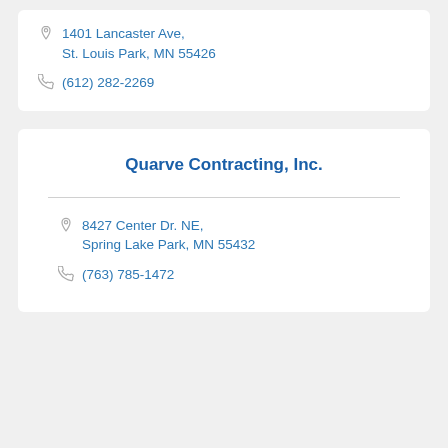1401 Lancaster Ave, St. Louis Park, MN 55426
(612) 282-2269
Quarve Contracting, Inc.
8427 Center Dr. NE, Spring Lake Park, MN 55432
(763) 785-1472